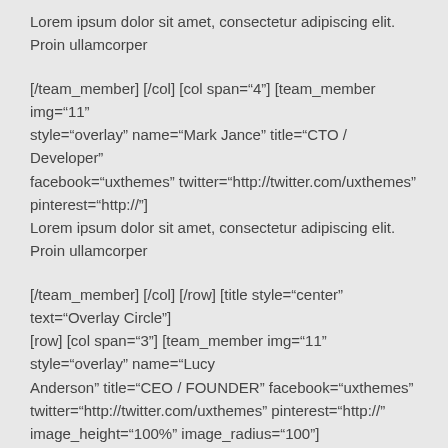Lorem ipsum dolor sit amet, consectetur adipiscing elit. Proin ullamcorper
[/team_member] [/col] [col span="4"] [team_member img="11" style="overlay" name="Mark Jance" title="CTO / Developer" facebook="uxthemes" twitter="http://twitter.com/uxthemes" pinterest="http://"]
Lorem ipsum dolor sit amet, consectetur adipiscing elit. Proin ullamcorper
[/team_member] [/col] [/row] [title style="center" text="Overlay Circle"] [row] [col span="3"] [team_member img="11" style="overlay" name="Lucy Anderson" title="CEO / FOUNDER" facebook="uxthemes" twitter="http://twitter.com/uxthemes" pinterest="http://" image_height="100%" image_radius="100"]
Lorem ipsum dolor sit amet, consectetur adipiscing elit. Proin ullamcorper
[/team_member] [/col] [col span="3"] [team_member img="11" style="overlay" name="Lucy Anderson" title="CO FOUNDER" facebook="#" twitter="#" email="emailus@email.com" linkedin="#"